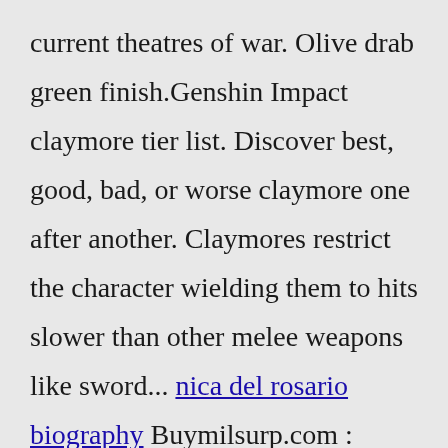current theatres of war. Olive drab green finish.Genshin Impact claymore tier list. Discover best, good, bad, or worse claymore one after another. Claymores restrict the character wielding them to hits slower than other melee weapons like sword... nica del rosario biography Buymilsurp.com : Ordnance, Grenades & Rockets - Mosin Nagant Parts & Accessories SKS Rifle Parts & Accessories